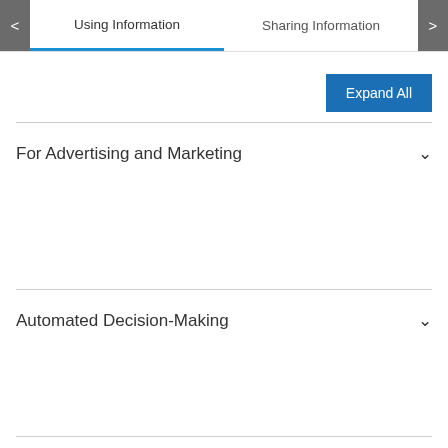Using Information | Sharing Information
Expand All
For Advertising and Marketing
Automated Decision-Making